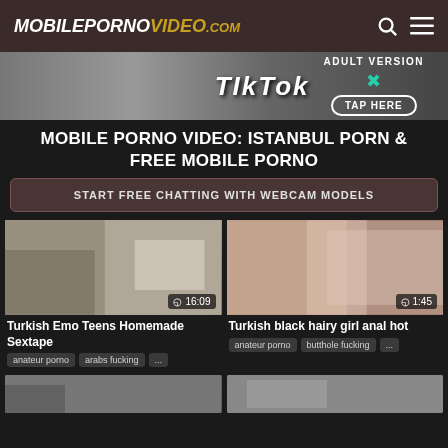MOBILEPORNOVIDEO.com
[Figure (photo): TikTok adult version advertisement banner with TAP HERE button]
MOBILE PORNO VIDEO: ISTANBUL PORN & FREE MOBILE PORNO
START FREE CHATTING WITH WEBCAM MODELS
[Figure (photo): Video thumbnail - Turkish Emo Teens Homemade Sextape, duration 16:09]
Turkish Emo Teens Homemade Sextape
anateur porno   arabs fucking   ...
[Figure (photo): Video thumbnail - Turkish black hairy girl anal hot, duration 1:45]
Turkish black hairy girl anal hot
anateur porno   butthole fucking   ...